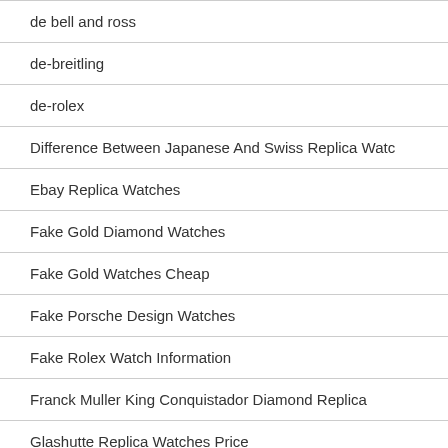de bell and ross
de-breitling
de-rolex
Difference Between Japanese And Swiss Replica Watc
Ebay Replica Watches
Fake Gold Diamond Watches
Fake Gold Watches Cheap
Fake Porsche Design Watches
Fake Rolex Watch Information
Franck Muller King Conquistador Diamond Replica
Glashutte Replica Watches Price